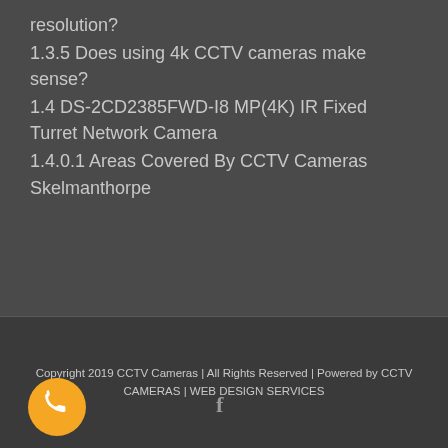resolution?
1.3.5 Does using 4k CCTV cameras make sense?
1.4 DS-2CD2385FWD-I8 MP(4K) IR Fixed Turret Network Camera
1.4.0.1 Areas Covered By CCTV Cameras Skelmanthorpe
Copyright 2019 CCTV Cameras | All Rights Reserved | Powered by CCTV CAMERAS | WEB DESIGN SERVICES
[Figure (other): Orange circular phone call button icon]
[Figure (other): Facebook social media icon letter f]